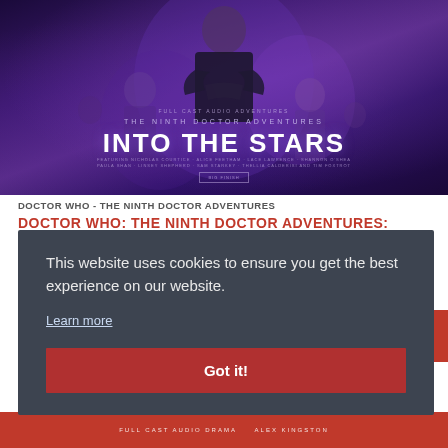[Figure (illustration): Book/album cover art for 'The Ninth Doctor Adventures: Into the Stars' — a dark purple-blue sci-fi poster with a figure in a leather jacket standing with arms crossed, surrounded by other figures, with text overlay showing 'Full Cast Audio Adventures', 'The Ninth Doctor Adventures', 'INTO THE STARS', and cast credits below.]
DOCTOR WHO - THE NINTH DOCTOR ADVENTURES
DOCTOR WHO: THE NINTH DOCTOR ADVENTURES:
This website uses cookies to ensure you get the best experience on our website.
Learn more
Got it!
[Figure (photo): Bottom strip showing partial image with 'FULL CAST AUDIO DRAMA' and 'ALEX KINGSTON' text on a red banner background]